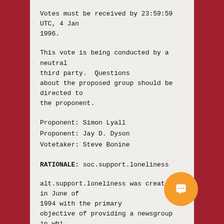Votes must be received by 23:59:59 UTC, 4 Jan 1996.
This vote is being conducted by a neutral third party.  Questions about the proposed group should be directed to the proponent.
Proponent: Simon Lyall
Proponent: Jay D. Dyson
Votetaker: Steve Bonine
RATIONALE: soc.support.loneliness
alt.support.loneliness was created in June of 1994 with the primary objective of providing a newsgroup in whi people could post their experiences with loneliness, read about other